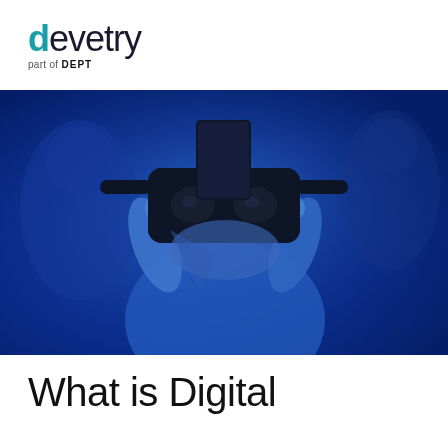devetry part of DEPT
[Figure (photo): A child wearing a VR headset, illuminated in blue light, holding the headset with both hands against their face. Other blurred figures visible in the background.]
What is Digital